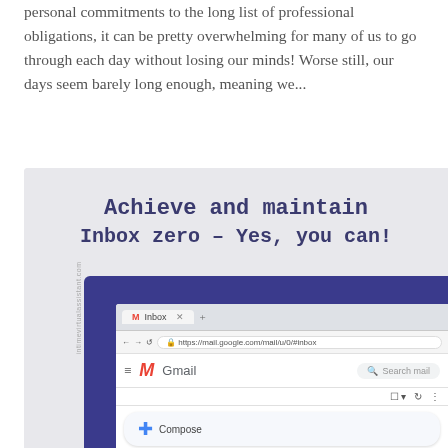personal commitments to the long list of professional obligations, it can be pretty overwhelming for many of us to go through each day without losing our minds! Worse still, our days seem barely long enough, meaning we...
[Figure (screenshot): Screenshot showing a promotional image with text 'Achieve and maintain Inbox zero – Yes, you can!' overlaid on a Gmail inbox screenshot inside a monitor frame. The Gmail interface shows Inbox, Starred, and Snoozed sidebar items, a Compose button, and the search bar.]